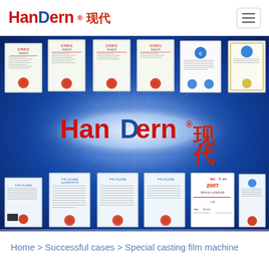HanDern 现代 [logo with hamburger menu]
[Figure (screenshot): HanDern company website hero banner showing multiple certificates and awards arranged around a central oval logo on a blue background. Top row shows patent and quality certificates, bottom row shows additional certificates including a 2007 plastics industry award.]
Home > Successful cases > Special casting film machine